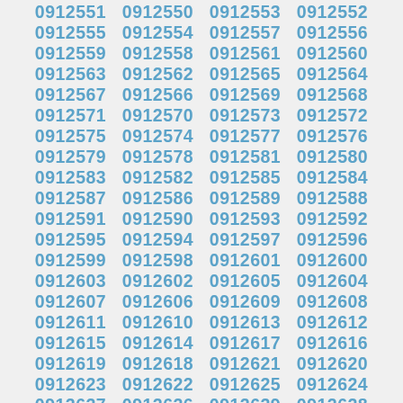0912551 0912550 0912553 0912552 0912555 0912554 0912557 0912556 0912559 0912558 0912561 0912560 0912563 0912562 0912565 0912564 0912567 0912566 0912569 0912568 0912571 0912570 0912573 0912572 0912575 0912574 0912577 0912576 0912579 0912578 0912581 0912580 0912583 0912582 0912585 0912584 0912587 0912586 0912589 0912588 0912591 0912590 0912593 0912592 0912595 0912594 0912597 0912596 0912599 0912598 0912601 0912600 0912603 0912602 0912605 0912604 0912607 0912606 0912609 0912608 0912611 0912610 0912613 0912612 0912615 0912614 0912617 0912616 0912619 0912618 0912621 0912620 0912623 0912622 0912625 0912624 0912627 0912626 0912629 0912628 0912631 0912630 0912633 0912632 0912635 0912634 0912637 0912636 0912639 0912638 0912641 0912640 0912643 0912642 0912645 0912644 0912647 0912646 0912649 0912648 0912651 0912650 0912653 0912652 0912655 0912654 0912657 0912656 0912659 0912658 0912661 0912660 0912663 0912662 0912665 0912664